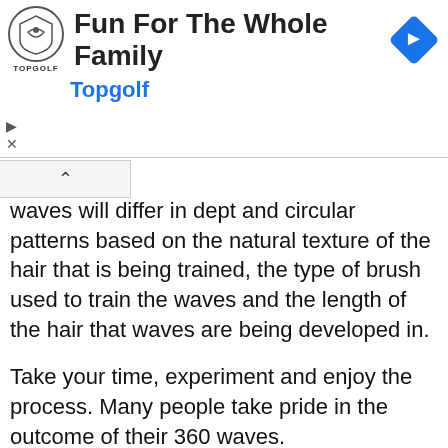[Figure (infographic): Advertisement banner for Topgolf with logo, headline 'Fun For The Whole Family', blue navigation arrow diamond icon, and blue Topgolf brand name subtitle. Play and close controls visible below.]
waves will differ in dept and circular patterns based on the natural texture of the hair that is being trained, the type of brush used to train the waves and the length of the hair that waves are being developed in.
Take your time, experiment and enjoy the process. Many people take pride in the outcome of their 360 waves.
For additional 360 Wave Making methods stop by the HairTalk Forum at:
http://talk.hairboutique.com/forum/forum_topics.asp?FID=53 and share new 360 Wave Development tips.
If you want to talk more about this or other hair